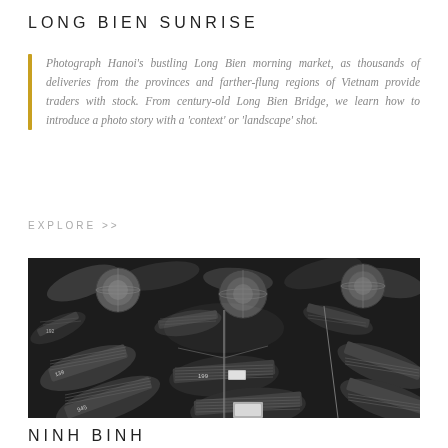LONG BIEN SUNRISE
Photograph Hanoi's bustling Long Bien morning market, as thousands of deliveries from the provinces and farther-flung regions of Vietnam provide traders with stock. From century-old Long Bien Bridge, we learn how to introduce a photo story with a 'context' or 'landscape' shot.
EXPLORE >>
[Figure (photo): Black and white aerial photograph of numerous traditional Vietnamese wooden boats closely packed together on water, with round wicker tops visible on some boats, numbered boats including 139, 199, 945 visible.]
NINH BINH